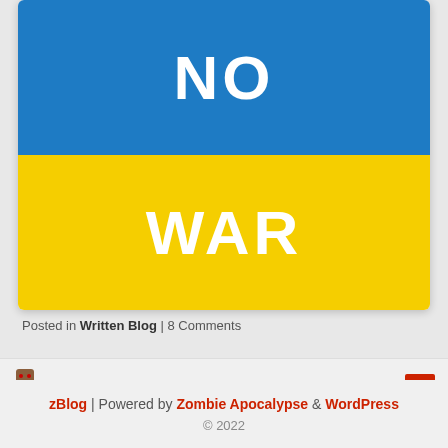[Figure (illustration): Ukrainian flag (blue top half, yellow bottom half) with 'NO' written in white on the blue section and 'WAR' written in white on the yellow section]
Posted in Written Blog | 8 Comments
zBlog | Powered by Zombie Apocalypse & WordPress
© 2022